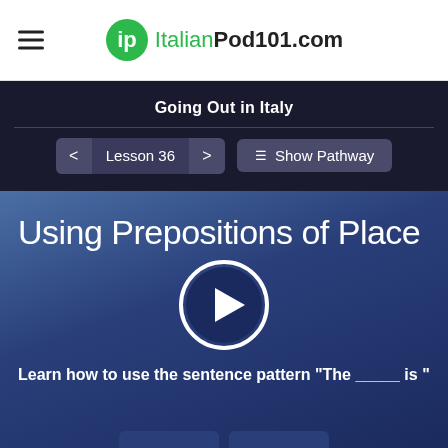ItalianPod101.com
Going Out in Italy
Lesson 36   Show Pathway
Using Prepositions of Place
[Figure (other): Play button circle for video lesson]
Learn how to use the sentence pattern "The _____ is "